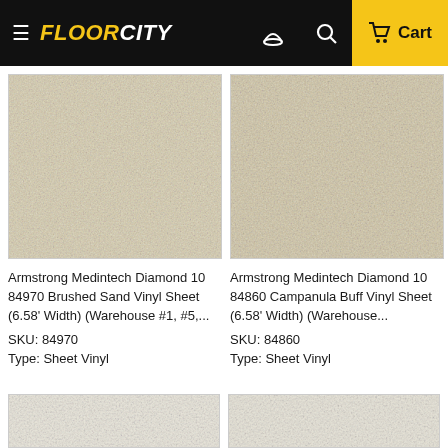FLOORCITY — Cart
[Figure (photo): Armstrong Medintech Diamond 10 84970 Brushed Sand vinyl sheet flooring texture — beige/tan speckled surface]
Armstrong Medintech Diamond 10 84970 Brushed Sand Vinyl Sheet (6.58' Width) (Warehouse #1, #5,...
SKU: 84970
Type: Sheet Vinyl
[Figure (photo): Armstrong Medintech Diamond 10 84860 Campanula Buff vinyl sheet flooring texture — beige/tan speckled surface]
Armstrong Medintech Diamond 10 84860 Campanula Buff Vinyl Sheet (6.58' Width) (Warehouse...
SKU: 84860
Type: Sheet Vinyl
[Figure (photo): Partial bottom image — lighter speckled vinyl flooring texture]
[Figure (photo): Partial bottom image — lighter speckled vinyl flooring texture]